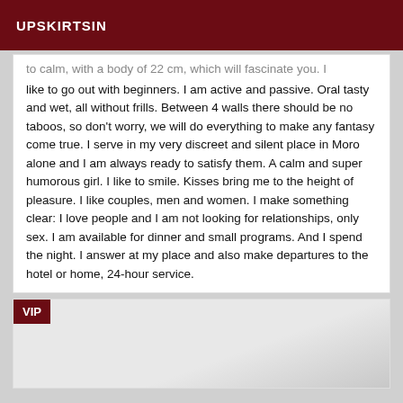UPSKIRTSIN
to calm, with a body of 22 cm, which will fascinate you. I like to go out with beginners. I am active and passive. Oral tasty and wet, all without frills. Between 4 walls there should be no taboos, so don't worry, we will do everything to make any fantasy come true. I serve in my very discreet and silent place in Moro alone and I am always ready to satisfy them. A calm and super humorous girl. I like to smile. Kisses bring me to the height of pleasure. I like couples, men and women. I make something clear: I love people and I am not looking for relationships, only sex. I am available for dinner and small programs. And I spend the night. I answer at my place and also make departures to the hotel or home, 24-hour service.
[Figure (photo): VIP section image placeholder with light gray background]